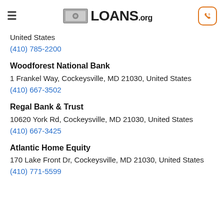LOANS.org
United States
(410) 785-2200
Woodforest National Bank
1 Frankel Way, Cockeysville, MD 21030, United States
(410) 667-3502
Regal Bank & Trust
10620 York Rd, Cockeysville, MD 21030, United States
(410) 667-3425
Atlantic Home Equity
170 Lake Front Dr, Cockeysville, MD 21030, United States
(410) 771-5599